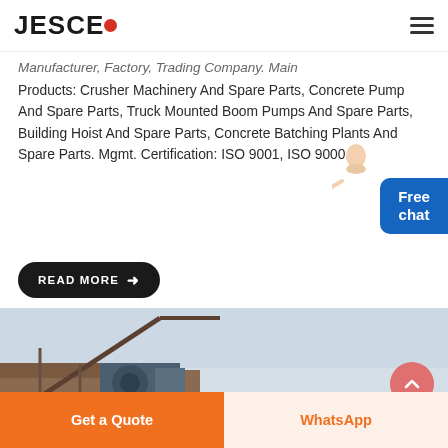JESCO
Manufacturer, Factory, Trading Company. Main Products: Crusher Machinery And Spare Parts, Concrete Pump And Spare Parts, Truck Mounted Boom Pumps And Spare Parts, Building Hoist And Spare Parts, Concrete Batching Plants And Spare Parts. Mgmt. Certification: ISO 9001, ISO 9000.
READ MORE →
[Figure (photo): Industrial crane or construction machinery photographed from below against a light sky background]
Get a Quote
WhatsApp